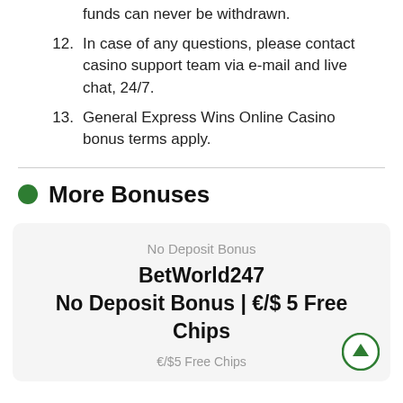funds can never be withdrawn.
12. In case of any questions, please contact casino support team via e-mail and live chat, 24/7.
13. General Express Wins Online Casino bonus terms apply.
More Bonuses
No Deposit Bonus
BetWorld247 No Deposit Bonus | €/$ 5 Free Chips
€/$5 Free Chips